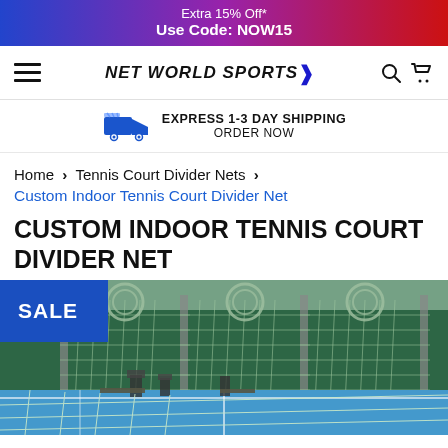Extra 15% Off* Use Code: NOW15
[Figure (logo): Net World Sports logo with hamburger menu, search and basket icons]
EXPRESS 1-3 DAY SHIPPING ORDER NOW
Home > Tennis Court Divider Nets >
Custom Indoor Tennis Court Divider Net
CUSTOM INDOOR TENNIS COURT DIVIDER NET
[Figure (photo): Indoor tennis court with green divider nets hanging from ceiling, blue court surface visible, sale badge overlay]